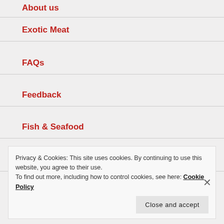About us
Exotic Meat
FAQs
Feedback
Fish & Seafood
Bengali Fish
Privacy & Cookies: This site uses cookies. By continuing to use this website, you agree to their use.
To find out more, including how to control cookies, see here: Cookie Policy
Close and accept